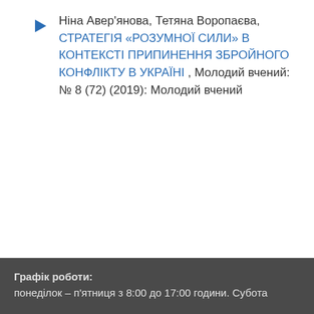Ніна Авер'янова, Тетяна Воропаєва, СТРАТЕГІЯ «РОЗУМНОЇ СИЛИ» В КОНТЕКСТІ ПРИПИНЕННЯ ЗБРОЙНОГО КОНФЛІКТУ В УКРАЇНІ , Молодий вчений: № 8 (72) (2019): Молодий вчений
1 2 > >>
Графік роботи:
понеділок – п'ятниця з 8:00 до 17:00 години. Субота